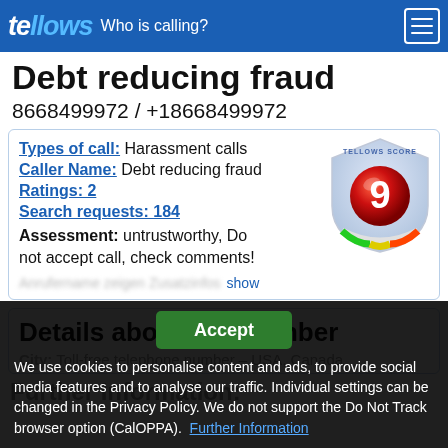tellows – Who is calling?
Debt reducing fraud
8668499972 / +18668499972
Types of call: Harassment calls
Caller Name: Debt reducing fraud
Ratings: 2
Search requests: 184
Assessment: untrustworthy, Do not accept call, check comments!
Anrufername zeigen Zusatzinfos  show
[Figure (infographic): Tellows Score shield badge showing score 9 in red/orange gradient shield with green/yellow/red arc at bottom]
Details about this number
City: Toll-free telephone number – USA, Canada
Further Information:
We use cookies to personalise content and ads, to provide social media features and to analyse our traffic. Individual settings can be changed in the Privacy Policy. We do not support the Do Not Track browser option (CalOPPA).  Further Information